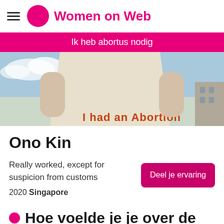Women on Web
Ik heb abortus nodig
[Figure (photo): Cropped photo of a person wearing a cream/white t-shirt with orange text reading 'I had an Abortion', sky visible in background]
Ono Kin
Really worked, except for suspicion from customs
Deel je ervaring
2020 Singapore
Hoe voelde je je over de